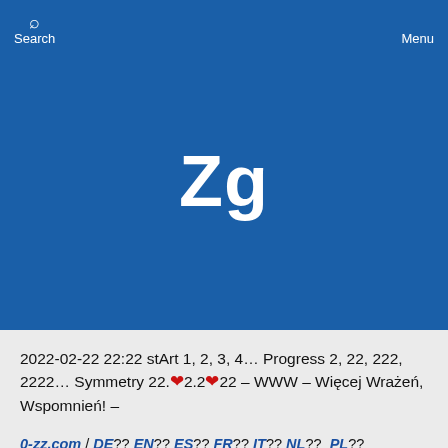Search   0-zz.com – Music Calendar   Menu
Zg
2022-02-22 22:22 stArt 1, 2, 3, 4… Progress 2, 22, 222, 2222… Symmetry 22.❤2.2❤22 – WWW – Więcej Wrażeń, Wspomnień! –
0-zz.com / DE?? EN?? ES?? FR?? IT?? NL?? PL?? PT?? SE?? …more: 12R.tv✗✅
2024-06-29 zg